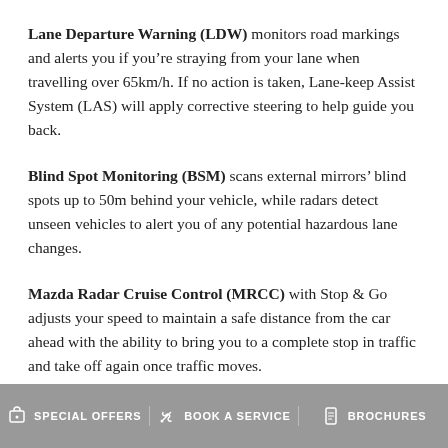Lane Departure Warning (LDW) monitors road markings and alerts you if you're straying from your lane when travelling over 65km/h. If no action is taken, Lane-keep Assist System (LAS) will apply corrective steering to help guide you back.
Blind Spot Monitoring (BSM) scans external mirrors' blind spots up to 50m behind your vehicle, while radars detect unseen vehicles to alert you of any potential hazardous lane changes.
Mazda Radar Cruise Control (MRCC) with Stop & Go adjusts your speed to maintain a safe distance from the car ahead with the ability to bring you to a complete stop in traffic and take off again once traffic moves.
SPECIAL OFFERS  BOOK A SERVICE  BROCHURES